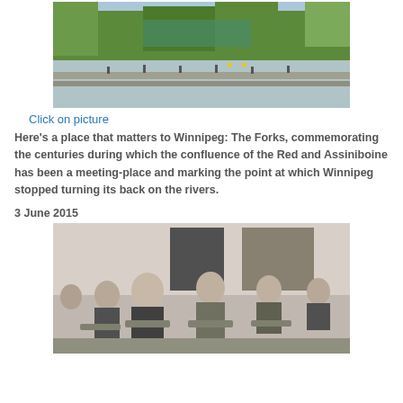[Figure (photo): Outdoor photo of The Forks in Winnipeg, showing a riverside area with people, trees in autumn colors, and waterfront structures under a blue sky.]
Click on picture
Here's a place that matters to Winnipeg: The Forks, commemorating the centuries during which the confluence of the Red and Assiniboine has been a meeting-place and marking the point at which Winnipeg stopped turning its back on the rivers.
3 June 2015
[Figure (photo): Black and white historical photograph of Indigenous children seated at school desks in a classroom, likely a residential school.]